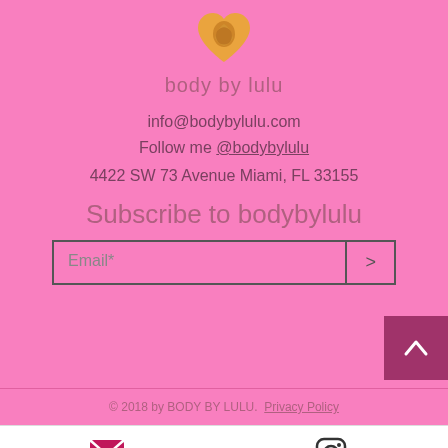[Figure (logo): Body by Lulu heart logo with flexing arm inside a golden/orange heart shape]
body by lulu
info@bodybylulu.com
Follow me @bodybylulu
4422 SW 73 Avenue Miami, FL 33155
Subscribe to bodybylulu
Email*
© 2018 by BODY BY LULU.  Privacy Policy
[Figure (infographic): Bottom navigation bar with Email envelope icon and Instagram icon]
Email
Instagram